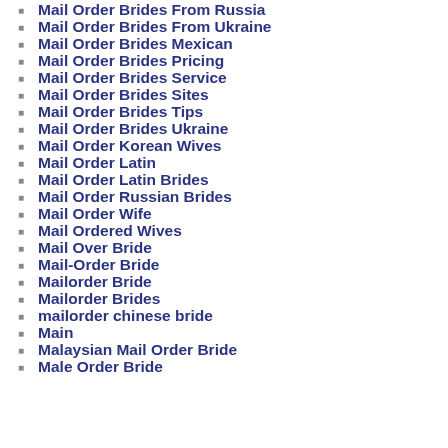Mail Order Brides From Russia
Mail Order Brides From Ukraine
Mail Order Brides Mexican
Mail Order Brides Pricing
Mail Order Brides Service
Mail Order Brides Sites
Mail Order Brides Tips
Mail Order Brides Ukraine
Mail Order Korean Wives
Mail Order Latin
Mail Order Latin Brides
Mail Order Russian Brides
Mail Order Wife
Mail Ordered Wives
Mail Over Bride
Mail-Order Bride
Mailorder Bride
Mailorder Brides
mailorder chinese bride
Main
Malaysian Mail Order Bride
Male Order Bride